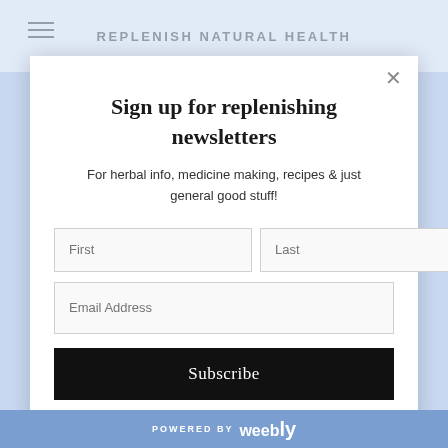REPLENISH NATURAL HEALTH
Sign up for replenishing newsletters
For herbal info, medicine making, recipes & just general good stuff!
[Figure (screenshot): Newsletter signup form with First, Last, Email Address fields and Subscribe button]
POWERED BY weebly